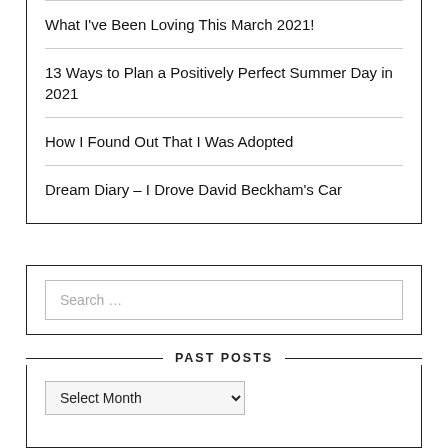What I've Been Loving This March 2021!
13 Ways to Plan a Positively Perfect Summer Day in 2021
How I Found Out That I Was Adopted
Dream Diary – I Drove David Beckham's Car
Search ...
PAST POSTS
Select Month